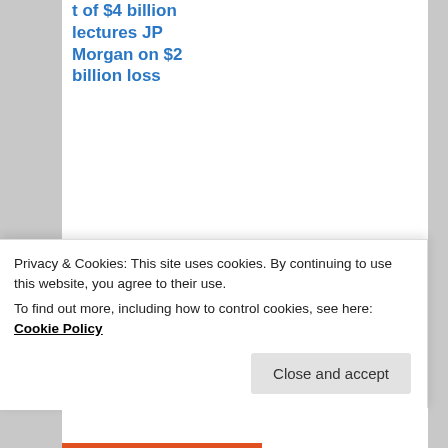t of $4 billion lectures JP Morgan on $2 billion loss
[Figure (photo): Thumbnail photo of a woman holding up two fingers]
Democracy is not the answer
[Figure (photo): Thumbnail photo of a man with glasses making a face, resembling Dwight from The Office]
How Ezra Klein ironically proves his own point
Privacy & Cookies: This site uses cookies. By continuing to use this website, you agree to their use.
To find out more, including how to control cookies, see here: Cookie Policy
Close and accept